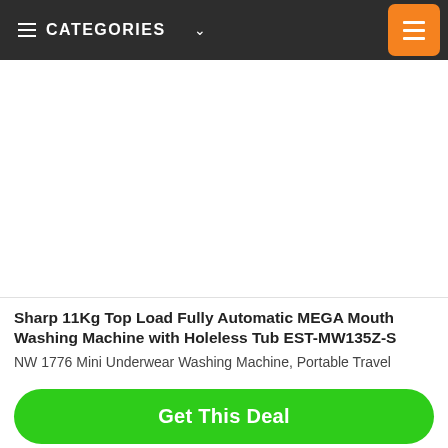CATEGORIES
[Figure (photo): Product image area — white/blank rectangle representing a washing machine product photo placeholder]
Sharp 11Kg Top Load Fully Automatic MEGA Mouth Washing Machine with Holeless Tub EST-MW135Z-S
NW 1776 Mini Underwear Washing Machine, Portable Travel
Get This Deal